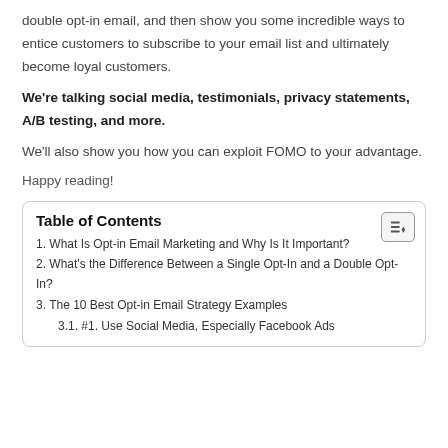double opt-in email, and then show you some incredible ways to entice customers to subscribe to your email list and ultimately become loyal customers.
We're talking social media, testimonials, privacy statements, A/B testing, and more.
We'll also show you how you can exploit FOMO to your advantage.
Happy reading!
| Table of Contents |
| --- |
| 1. What Is Opt-in Email Marketing and Why Is It Important? |
| 2. What's the Difference Between a Single Opt-In and a Double Opt-In? |
| 3. The 10 Best Opt-in Email Strategy Examples |
| 3.1. #1. Use Social Media, Especially Facebook Ads |